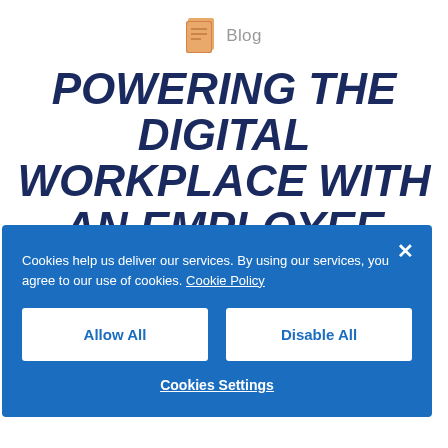Blog
POWERING THE DIGITAL WORKPLACE WITH AN EMPLOYEE
Cookies help us deliver our services. By using our services, you agree to our use of cookies. Cookie Policy
Allow All
Disable All
Cookies Settings